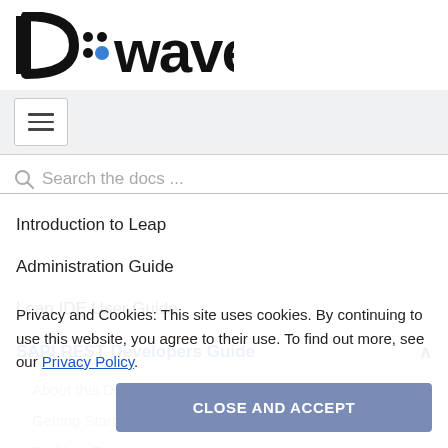[Figure (logo): D-Wave logo in black with blue dot accent]
[Figure (other): Navigation hamburger menu icon in a white box]
Search the docs ...
Introduction to Leap
Administration Guide
Leap IDE User Guide
SAPI REST Developers Guide
About this Document
Getting Started
Problem Resources
Solver Resources
Data Encoding
Privacy and Cookies: This site uses cookies. By continuing to use this website, you agree to their use. To find out more, see our Privacy Policy.
CLOSE AND ACCEPT